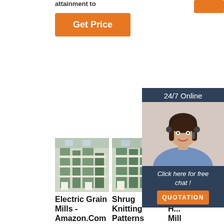attainment to
[Figure (other): Orange button (partial, top right)]
[Figure (other): Get Price orange button]
[Figure (other): 24/7 Online chat overlay with woman wearing headset, 'Click here for free chat!' text, and QUOTATION orange button]
[Figure (photo): Industrial grain mill machinery photo 1]
[Figure (photo): Industrial grain mill machinery photo 2]
[Figure (photo): Industrial grain mill machinery photo 3 (partially obscured by chat overlay)]
Electric Grain Mills - Amazon.Com
Shrug Knitting Patterns
H... H... Mill
Grain Mills, Upgraded 3000W Wet
Shrug Knitting Patterns. Create a cute
2021-11-2u2002·u2002Ho hammer mill.